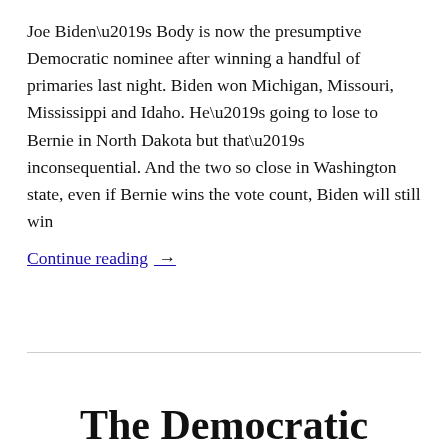Joe Biden’s Body is now the presumptive Democratic nominee after winning a handful of primaries last night. Biden won Michigan, Missouri, Mississippi and Idaho. He’s going to lose to Bernie in North Dakota but that’s inconsequential. And the two so close in Washington state, even if Bernie wins the vote count, Biden will still win
Continue reading →
The Democratic